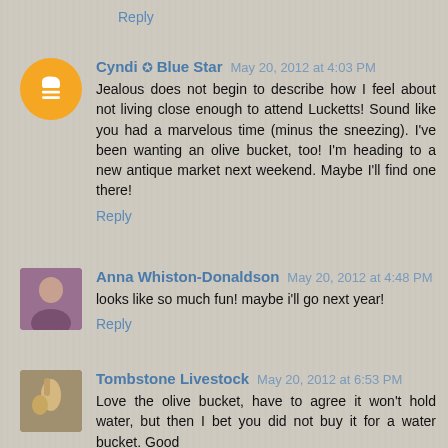Reply
Cyndi ✪ Blue Star  May 20, 2012 at 4:03 PM
Jealous does not begin to describe how I feel about not living close enough to attend Lucketts! Sound like you had a marvelous time (minus the sneezing). I've been wanting an olive bucket, too! I'm heading to a new antique market next weekend. Maybe I'll find one there!
Reply
Anna Whiston-Donaldson  May 20, 2012 at 4:48 PM
looks like so much fun! maybe i'll go next year!
Reply
Tombstone Livestock  May 20, 2012 at 6:53 PM
Love the olive bucket, have to agree it won't hold water, but then I bet you did not buy it for a water bucket. Good